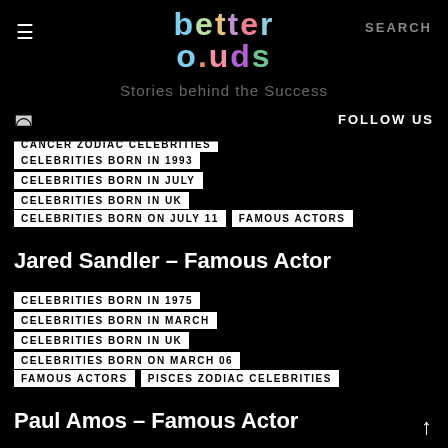[Figure (logo): better ouds logo with colorful gradient letters on black background]
Stories behind the Success
FOLLOW US
CANCER ZODIAC CELEBRITIES
CELEBRITIES BORN IN 1993
CELEBRITIES BORN IN JULY
CELEBRITIES BORN IN UK
CELEBRITIES BORN ON JULY 11
FAMOUS ACTORS
Jared Sandler – Famous Actor
CELEBRITIES BORN IN 1975
CELEBRITIES BORN IN MARCH
CELEBRITIES BORN IN UK
CELEBRITIES BORN ON MARCH 06
FAMOUS ACTORS
PISCES ZODIAC CELEBRITIES
Paul Amos – Famous Actor